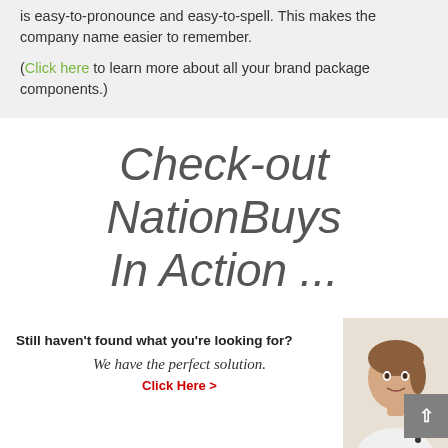is easy-to-pronounce and easy-to-spell. This makes the company name easier to remember.
(Click here to learn more about all your brand package components.)
Check-out NationBuys In Action ...
Still haven't found what you're looking for? We have the perfect solution. Click Here >